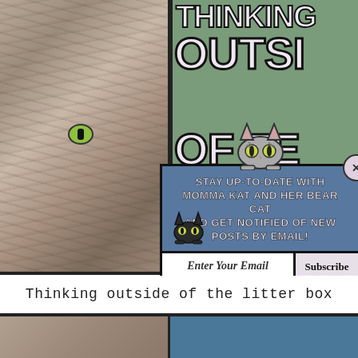[Figure (screenshot): Screenshot of a cat blog website showing a photo of a tabby cat on the left, a green background with large stylized text 'THINKING OUTSIDE OF THE LITTER BOX' on the right, and an email subscription popup overlay in the center with text 'STAY UP-TO-DATE WITH MOMMA KAT AND HER BEAR CAT AND GET NOTIFIED OF NEW POSTS BY EMAIL!' with an email input field and Subscribe button. A hamburger menu button appears in the lower right.]
Thinking outside of the litter box
[Figure (screenshot): Partial preview at bottom of page showing another cat blog page: cat photo on left, teal/blue background on right.]